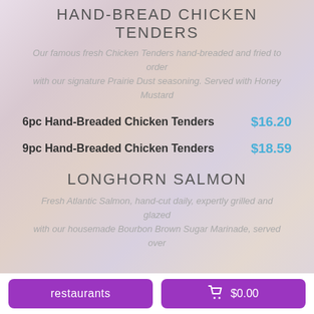HAND-BREAD CHICKEN TENDERS
Our famous fresh Chicken Tenders hand-breaded and fried to order with our signature Prairie Dust seasoning. Served with Honey Mustard
6pc Hand-Breaded Chicken Tenders $16.20
9pc Hand-Breaded Chicken Tenders $18.59
LONGHORN SALMON
Fresh Atlantic Salmon, hand-cut daily, expertly grilled and glazed with our housemade Bourbon Brown Sugar Marinade, served over
restaurants   $0.00